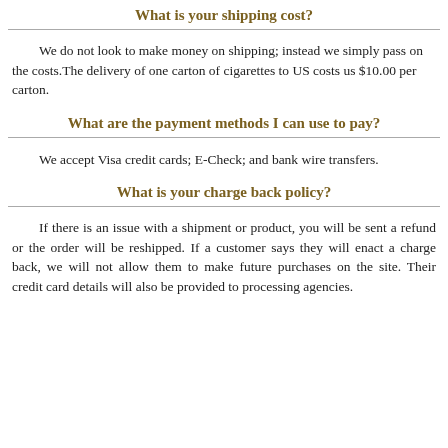What is your shipping cost?
We do not look to make money on shipping; instead we simply pass on the costs.The delivery of one carton of cigarettes to US costs us $10.00 per carton.
What are the payment methods I can use to pay?
We accept Visa credit cards; E-Check; and bank wire transfers.
What is your charge back policy?
If there is an issue with a shipment or product, you will be sent a refund or the order will be reshipped. If a customer says they will enact a charge back, we will not allow them to make future purchases on the site. Their credit card details will also be provided to processing agencies.